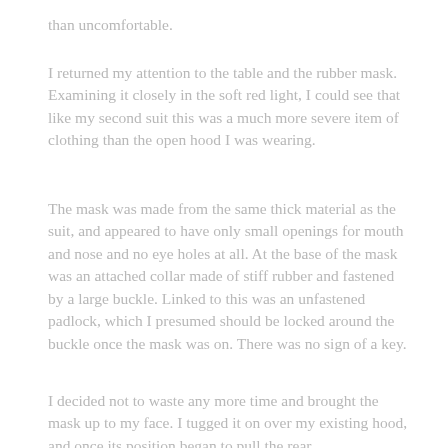than uncomfortable.
I returned my attention to the table and the rubber mask. Examining it closely in the soft red light, I could see that like my second suit this was a much more severe item of clothing than the open hood I was wearing.
The mask was made from the same thick material as the suit, and appeared to have only small openings for mouth and nose and no eye holes at all. At the base of the mask was an attached collar made of stiff rubber and fastened by a large buckle. Linked to this was an unfastened padlock, which I presumed should be locked around the buckle once the mask was on. There was no sign of a key.
I decided not to waste any more time and brought the mask up to my face. I tugged it on over my existing hood, and once its position began to pull the rear...